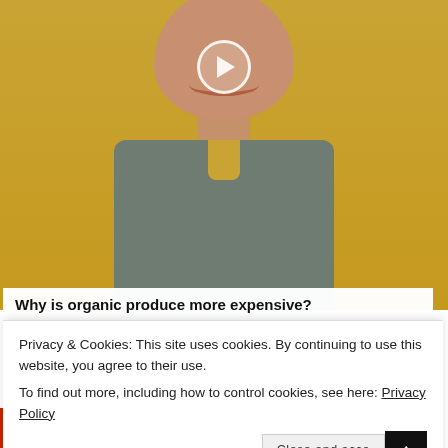[Figure (photo): Video thumbnail showing a smiling woman with short hair wearing a gray top, against a yellow/golden background, with a circular play button overlay in the upper center.]
Why is organic produce more expensive?
Privacy & Cookies: This site uses cookies. By continuing to use this website, you agree to their use.
To find out more, including how to control cookies, see here: Privacy Policy
SU